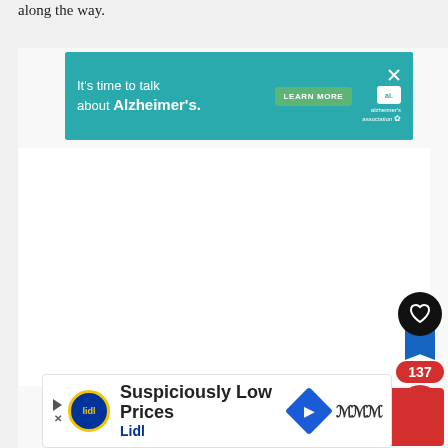along the way.
[Figure (screenshot): Alzheimer's Association advertisement banner: teal background with text 'It's time to talk about Alzheimer's.' and a 'LEARN MORE' button, Alzheimer's Association logo on the right, close X button.]
[Figure (screenshot): Social media interaction UI: black circle with heart icon, blue bookmark ribbon, red pill showing count 137, red circle with share/plus icon.]
[Figure (screenshot): What's Next card: red background with thumbnail image of a waterfall/landscape, text 'WHAT'S NEXT → Golden Circle Iceland self-...']
[Figure (screenshot): Lidl advertisement: white card with Lidl logo, text 'Suspiciously Low Prices', 'Lidl', blue direction arrow icon, wave logo. Play and close buttons on left side.]